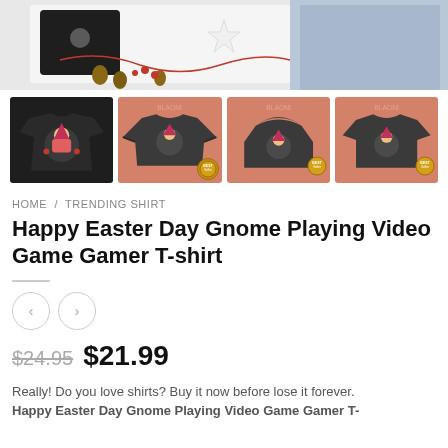[Figure (photo): Hero banner showing clothing items on a flat lay — black sweatshirt, jeans, star ornament, pine cones, and red berries on white background]
[Figure (photo): Four product thumbnail images: black sweatshirt with gnome design, long-sleeve shirt on salmon background, hoodie on salmon background, t-shirt on salmon background — all with gnome playing video game Easter design. Second, third, and fourth thumbnails have 'Best Seller' gold badges.]
HOME / TRENDING SHIRT
Happy Easter Day Gnome Playing Video Game Gamer T-shirt
$ 24.95  $21.99
Really! Do you love shirts? Buy it now before lose it forever. Happy Easter Day Gnome Playing Video Game Gamer T-